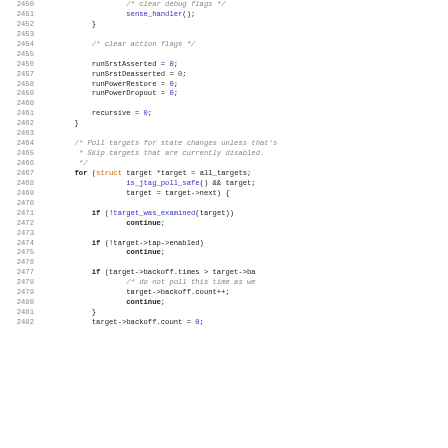[Figure (screenshot): Source code listing in C showing lines 2450-2482, with line numbers on the left and syntax-highlighted code on the right. The code includes function calls, variable assignments, a for loop, and if statements.]